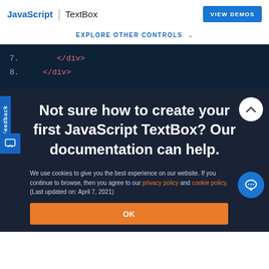JavaScript | TextBox  VIEW DEMOS
EXPLORE OTHER CONTROLS ˅
[Figure (screenshot): Code snippet showing lines 7 and 8 with HTML closing tags </div> on a dark navy background]
Not sure how to create your first JavaScript TextBox? Our documentation can help.
We use cookies to give you the best experience on our website. If you continue to browse, then you agree to our privacy policy and cookie policy.  (Last updated on: April 7, 2021)
OK